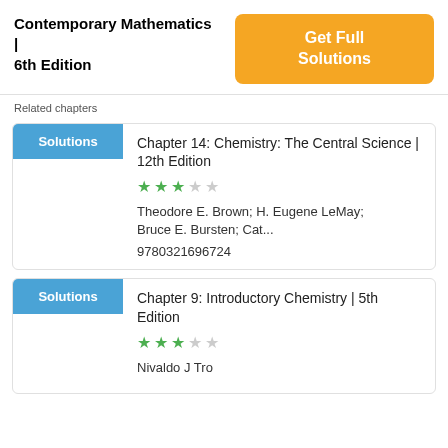Contemporary Mathematics | 6th Edition
Get Full Solutions
Related chapters
Solutions
Chapter 14: Chemistry: The Central Science | 12th Edition
★★★☆☆
Theodore E. Brown; H. Eugene LeMay; Bruce E. Bursten; Cat...
9780321696724
Solutions
Chapter 9: Introductory Chemistry | 5th Edition
★★★☆☆
Nivaldo J Tro